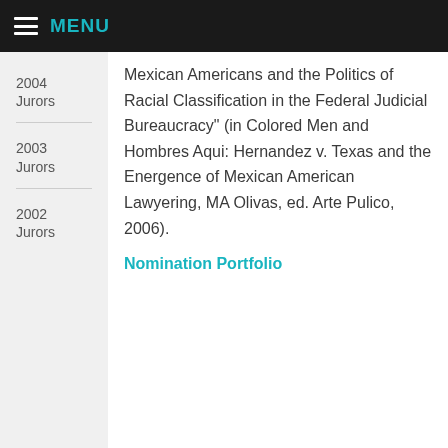MENU
2004 Jurors
2003 Jurors
2002 Jurors
Mexican Americans and the Politics of Racial Classification in the Federal Judicial Bureaucracy" (in Colored Men and Hombres Aqui: Hernandez v. Texas and the Energence of Mexican American Lawyering, MA Olivas, ed. Arte Pulico, 2006).
Nomination Portfolio